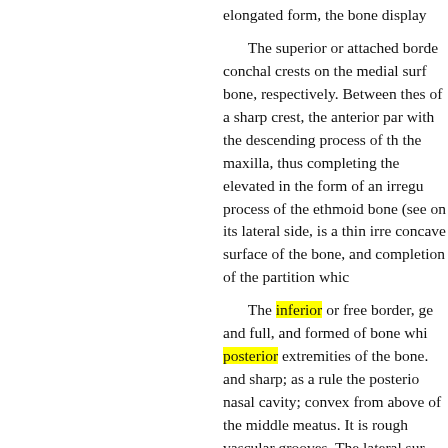elongated form, the bone display
The superior or attached borde conchal crests on the medial surf bone, respectively. Between thes of a sharp crest, the anterior par with the descending process of th the maxilla, thus completing the elevated in the form of an irregu process of the ethmoid bone (see on its lateral side, is a thin irre concave surface of the bone, and completion of the partition whic
The inferior or free border, ge and full, and formed of bone whi posterior extremities of the bone and sharp; as a rule the posterio nasal cavity; convex from above of the middle meatus. It is rough vascular grooves. The lateral sur downwards, and to some extent f cavity. It is smooth in front, whe behind and towards its inferior b part concealed by the downwar